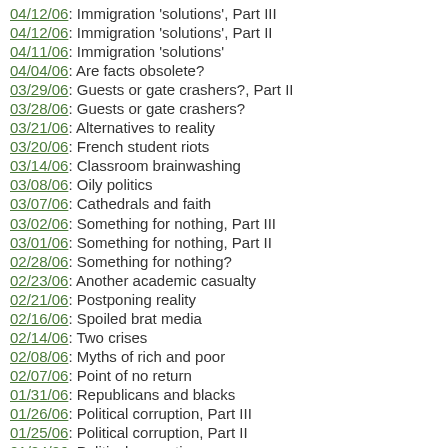04/12/06: Immigration 'solutions', Part III
04/12/06: Immigration 'solutions', Part II
04/11/06: Immigration 'solutions'
04/04/06: Are facts obsolete?
03/29/06: Guests or gate crashers?, Part II
03/28/06: Guests or gate crashers?
03/21/06: Alternatives to reality
03/20/06: French student riots
03/14/06: Classroom brainwashing
03/08/06: Oily politics
03/07/06: Cathedrals and faith
03/02/06: Something for nothing, Part III
03/01/06: Something for nothing, Part II
02/28/06: Something for nothing?
02/23/06: Another academic casualty
02/21/06: Postponing reality
02/16/06: Spoiled brat media
02/14/06: Two crises
02/08/06: Myths of rich and poor
02/07/06: Point of no return
01/31/06: Republicans and blacks
01/26/06: Political corruption, Part III
01/25/06: Political corruption, Part II
01/24/06: Political corruption
01/16/06: Senate condemnation hearings